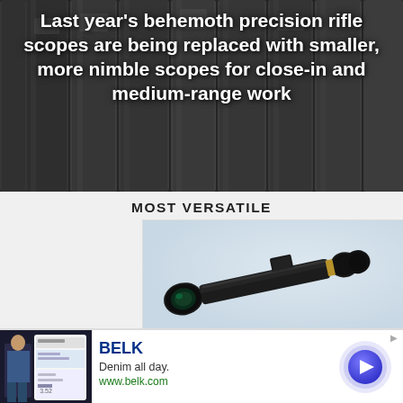Last year's behemoth precision rifle scopes are being replaced with smaller, more nimble scopes for close-in and medium-range work
[Figure (photo): Background photo of multiple rifle scopes arranged vertically, dark metallic finish]
MOST VERSATILE
[Figure (photo): Product photo of a black rifle scope with gold ring on white/light blue gradient background]
[Figure (photo): Advertisement banner for BELK with women in denim and app screenshot]
BELK
Denim all day.
www.belk.com